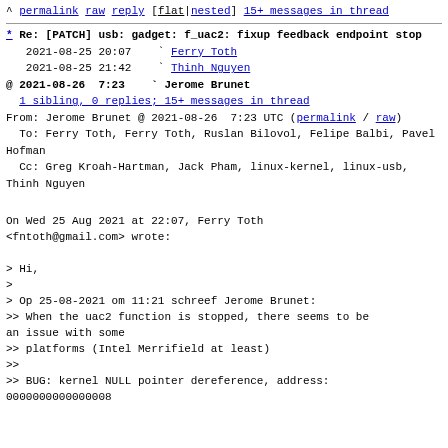^ permalink raw reply [ flat|nested] 15+ messages in thread
* Re: [PATCH] usb: gadget: f_uac2: fixup feedback endpoint stop
2021-08-25 20:07    ` Ferry Toth
   2021-08-25 21:42    ` Thinh Nguyen
@ 2021-08-26  7:23    ` Jerome Brunet
  1 sibling, 0 replies; 15+ messages in thread
From: Jerome Brunet @ 2021-08-26  7:23 UTC (permalink / raw)
  To: Ferry Toth, Ferry Toth, Ruslan Bilovol, Felipe Balbi, Pavel Hofman
  Cc: Greg Kroah-Hartman, Jack Pham, linux-kernel, linux-usb, Thinh Nguyen
On Wed 25 Aug 2021 at 22:07, Ferry Toth
<fntoth@gmail.com> wrote:

> Hi,
>
> Op 25-08-2021 om 11:21 schreef Jerome Brunet:
>> When the uac2 function is stopped, there seems to be an issue with some
>> platforms (Intel Merrifield at least)
>>
>> BUG: kernel NULL pointer dereference, address:
0000000000000008